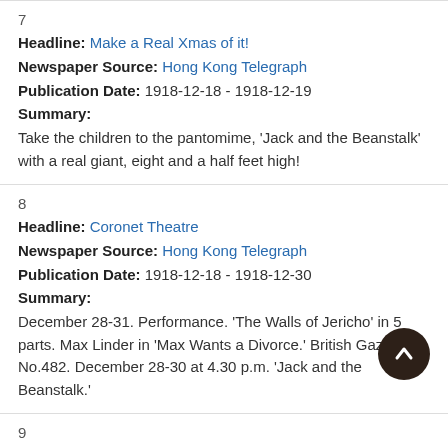7
Headline: Make a Real Xmas of it!
Newspaper Source: Hong Kong Telegraph
Publication Date: 1918-12-18 - 1918-12-19
Summary:
Take the children to the pantomime, 'Jack and the Beanstalk' with a real giant, eight and a half feet high!
8
Headline: Coronet Theatre
Newspaper Source: Hong Kong Telegraph
Publication Date: 1918-12-18 - 1918-12-30
Summary:
December 28-31. Performance. 'The Walls of Jericho' in 5 parts. Max Linder in 'Max Wants a Divorce.' British Gazette No.482. December 28-30 at 4.30 p.m. 'Jack and the Beanstalk.'
9
Headline: The Coronet
Newspaper Source: Hong Kong Telegraph